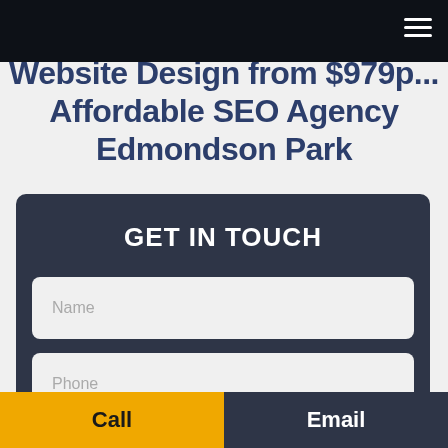Website Design from $979p...
Affordable SEO Agency Edmondson Park
GET IN TOUCH
Name
Phone
Call
Email